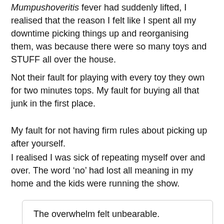Mumpushoveritis fever had suddenly lifted, I realised that the reason I felt like I spent all my downtime picking things up and reorganising them, was because there were so many toys and STUFF all over the house.
Not their fault for playing with every toy they own for two minutes tops. My fault for buying all that junk in the first place.
My fault for not having firm rules about picking up after yourself.
I realised I was sick of repeating myself over and over. The word ‘no’ had lost all meaning in my home and the kids were running the show.
The overwhelm felt unbearable.